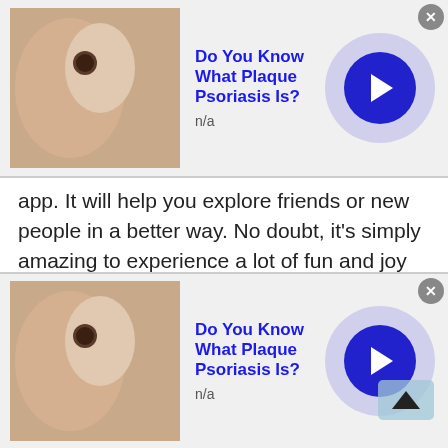[Figure (screenshot): Advertisement banner at top: skin/mole photo on left, 'Do You Know What Plaque Psoriasis Is?' title in blue bold, 'n/a' subtitle, blue circle arrow button, close X button]
app. It will help you explore friends or new people in a better way. No doubt, it's simply amazing to experience a lot of fun and joy with millions of new people online!
Adult chat
Adult chat is all open for men and women who want to chit chat and learn new things via free online chat.
[Figure (screenshot): Advertisement banner at bottom: skin/mole photo on left, 'Do You Know What Plaque Psoriasis Is?' title in blue bold, 'n/a' subtitle, blue circle arrow button, close X button]